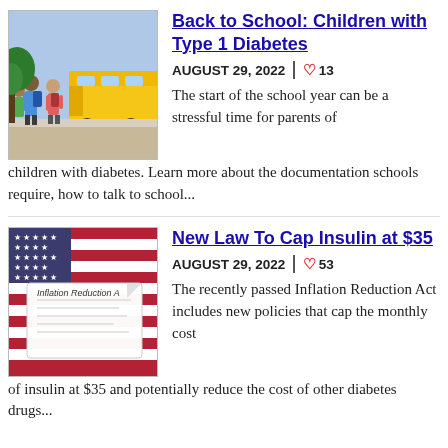[Figure (photo): Children with backpacks boarding a school bus, back to school scene]
Back to School: Children with Type 1 Diabetes
AUGUST 29, 2022  | ♡ 13
The start of the school year can be a stressful time for parents of children with diabetes. Learn more about the documentation schools require, how to talk to school...
[Figure (photo): Inflation Reduction Act document on American flag background]
New Law To Cap Insulin at $35
AUGUST 29, 2022  | ♡ 53
The recently passed Inflation Reduction Act includes new policies that cap the monthly cost of insulin at $35 and potentially reduce the cost of other diabetes drugs...